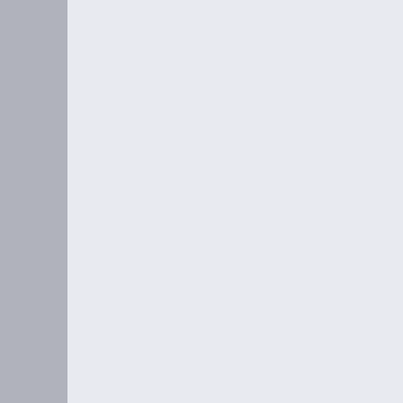WandaVision didn't expect another long period of being out of comics.

She's a very special character. I think that's why I kind of see how depressing it is to follow her, quite this combination of highs and lows. Rooting for her is a drag, and sometimes we get what we want, maybe someday we will again.
Sadly still not in anything but the cosmic Gala in July.
Love is for souls, not bodies.
05-19-2022, 02:56 PM
CJStriker
Wanda Revolution CBR-2012
[Figure (photo): Avatar image of a comic book character with red costume, dark hair, blue background]
[Figure (illustration): Yellow lightbulb icon]
Originally Posted by Gen